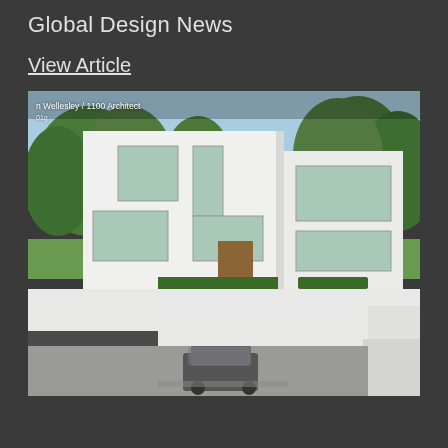Global Design News
View Article
[Figure (photo): Exterior photograph of a modern white cubic residential house in Wellesley by 1100 Architect, showing two-story white stucco facade with large windows, wooden front door, surrounded by green trees, with a sunken garage area in the foreground containing a parked car.]
Wellesley / 1100 Architect